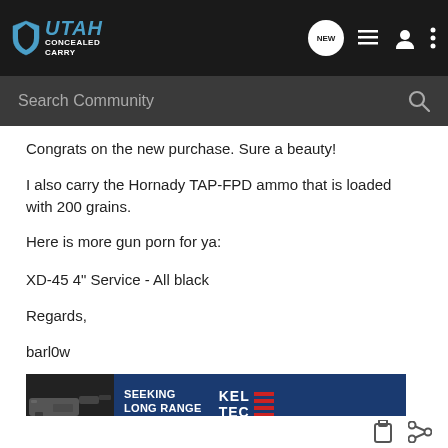Utah Concealed Carry - Search Community
Congrats on the new purchase. Sure a beauty!
I also carry the Hornady TAP-FPD ammo that is loaded with 200 grains.
Here is more gun porn for ya:
XD-45 4" Service - All black
Regards,
barl0w
[Figure (screenshot): Kel-Tec advertisement banner showing a pistol with text SEEKING LONG RANGE RELATIONSHIP and THE CP33 PISTOL]